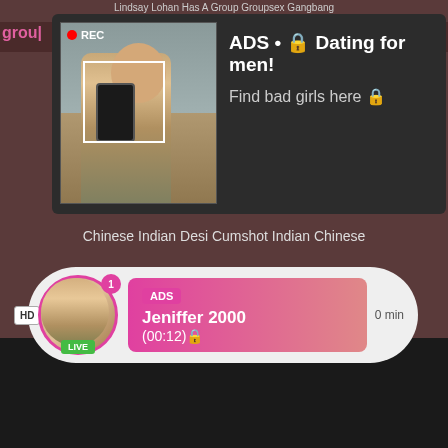Lindsay Lohan Has A Group Groupsex Gangbang
grou|
as...
[Figure (screenshot): Ad overlay with REC badge and photo of person taking mirror selfie, with text: ADS • Dating for men! Find bad girls here]
[Figure (screenshot): Live notification card showing avatar with LIVE badge, HD label, ADS pill, name Jeniffer 2000, time (00:12), min label]
Chinese Indian Desi Cumshot Indian Chinese
cumshot, indian, chinese, desi, indian sex
[Figure (screenshot): Dark video player area at bottom of page]